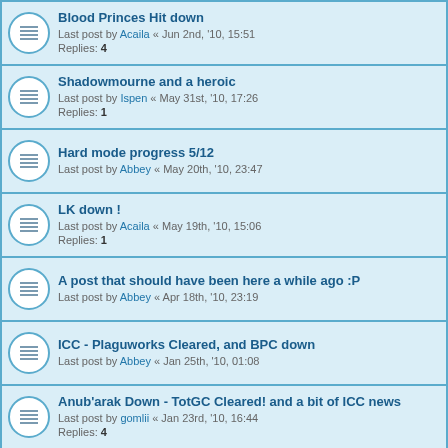Blood Princes Hit down - Last post by Acaila « Jun 2nd, '10, 15:51 - Replies: 4
Shadowmourne and a heroic - Last post by Ispen « May 31st, '10, 17:26 - Replies: 1
Hard mode progress 5/12 - Last post by Abbey « May 20th, '10, 23:47
LK down ! - Last post by Acaila « May 19th, '10, 15:06 - Replies: 1
A post that should have been here a while ago :P - Last post by Abbey « Apr 18th, '10, 23:19
ICC - Plaguworks Cleared, and BPC down - Last post by Abbey « Jan 25th, '10, 01:08
Anub'arak Down - TotGC Cleared! and a bit of ICC news - Last post by gomlii « Jan 23rd, '10, 16:44 - Replies: 4
Display topics from previous: All Topics ▾
Sort by Post time ▾
Descending ▾
Go
New Topic ✳
97 topics  1  2  ▶